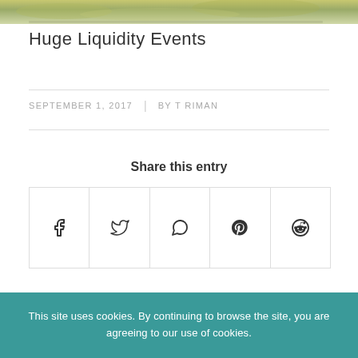[Figure (photo): Partial photo strip at top of page showing a blurry nature/liquid background image]
Huge Liquidity Events
SEPTEMBER 1, 2017 | BY T RIMAN
Share this entry
[Figure (infographic): Social share buttons row: Facebook, Twitter, WhatsApp, Pinterest, Reddit icons in bordered boxes]
This site uses cookies. By continuing to browse the site, you are agreeing to our use of cookies.